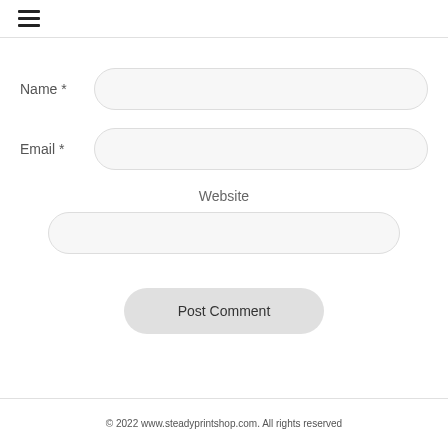☰
Name *
Email *
Website
Post Comment
© 2022 www.steadyprintshop.com. All rights reserved